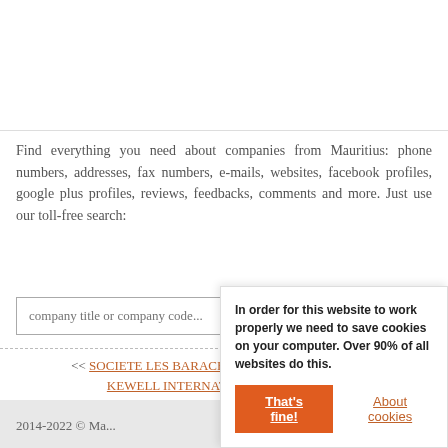Find everything you need about companies from Mauritius: phone numbers, addresses, fax numbers, e-mails, websites, facebook profiles, google plus profiles, reviews, feedbacks, comments and more. Just use our toll-free search:
company title or company code...
Search!
<< SOCIETE LES BARACHOIS DE MELVILLE-TROIS KEWELL INTERNATIONAL LIMITED >>
2014-2022 © Ma...
In order for this website to work properly we need to save cookies on your computer. Over 90% of all websites do this. That's fine! About cookies